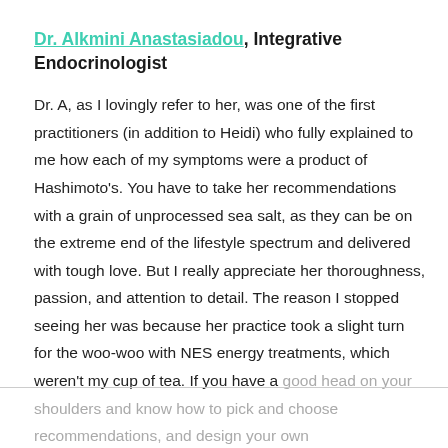Dr. Alkmini Anastasiadou, Integrative Endocrinologist
Dr. A, as I lovingly refer to her, was one of the first practitioners (in addition to Heidi) who fully explained to me how each of my symptoms were a product of Hashimoto's. You have to take her recommendations with a grain of unprocessed sea salt, as they can be on the extreme end of the lifestyle spectrum and delivered with tough love. But I really appreciate her thoroughness, passion, and attention to detail. The reason I stopped seeing her was because her practice took a slight turn for the woo-woo with NES energy treatments, which weren't my cup of tea. If you have a good head on your shoulders and know how to pick and choose recommendations, and design your own